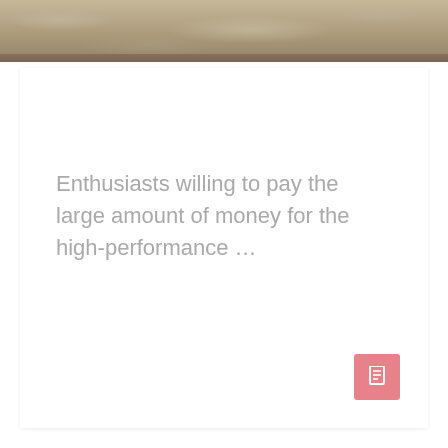[Figure (photo): Textured stone or concrete surface photo strip at the top of the page]
Enthusiasts willing to pay the large amount of money for the high-performance …